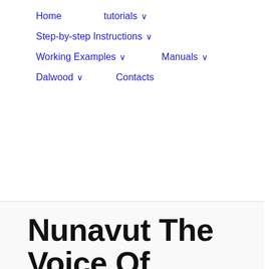Home   tutorials ∨   Step-by-step Instructions ∨   Working Examples ∨   Manuals ∨   Dalwood ∨   Contacts
Nunavut The Voice Of